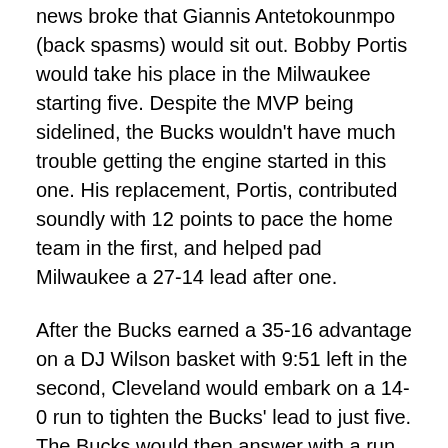news broke that Giannis Antetokounmpo (back spasms) would sit out. Bobby Portis would take his place in the Milwaukee starting five. Despite the MVP being sidelined, the Bucks wouldn't have much trouble getting the engine started in this one. His replacement, Portis, contributed soundly with 12 points to pace the home team in the first, and helped pad Milwaukee a 27-14 lead after one.
After the Bucks earned a 35-16 advantage on a DJ Wilson basket with 9:51 left in the second, Cleveland would embark on a 14-0 run to tighten the Bucks' lead to just five. The Bucks would then answer with a run of their own, to stamp out the half up by double digits, 47-37.
Despite the starters being in the game to begin the third, Milwaukee didn't have much of an opportunity to